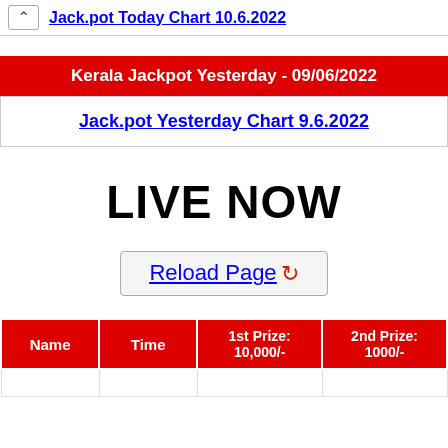Jack.pot Today Chart 10.6.2022
Kerala Jackpot Yesterday - 09/06/2022
Jack.pot Yesterday Chart 9.6.2022
LIVE NOW
Reload Page
| Name | Time | 1st Prize:
10,000/- | 2nd Prize:
1000/- |
| --- | --- | --- | --- |
|  |  |  |  |